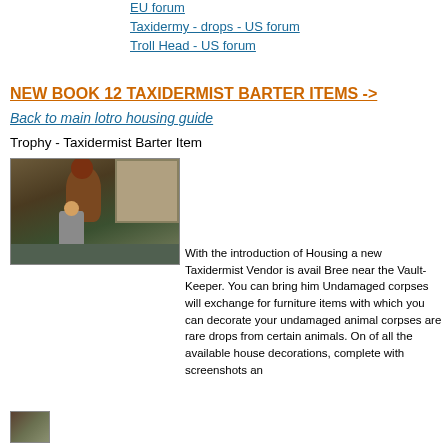EU forum
Taxidermy - drops - US forum
Troll Head - US forum
NEW BOOK 12 TAXIDERMIST BARTER ITEMS ->
Back to main lotro housing guide
Trophy - Taxidermist Barter Item
[Figure (screenshot): In-game screenshot showing a bear trophy mount on a pedestal with a player character standing nearby, and a building in the background.]
With the introduction of Housing a new Taxidermist Vendor is avail... Bree near the Vault-Keeper. You can bring him Undamaged corpses will exchange for furniture items with which you can decorate your undamaged animal corpses are rare drops from certain animals. On of all the available house decorations, complete with screenshots an
[Figure (screenshot): Small thumbnail screenshot of in-game scenery.]